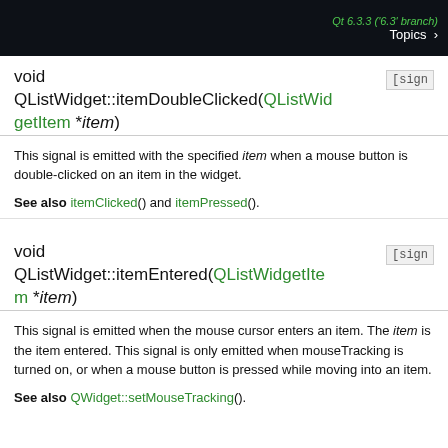Qt 6.3.3 ('6.3' branch) Topics >
void QListWidget::itemDoubleClicked(QListWidgetItem *item)
This signal is emitted with the specified item when a mouse button is double-clicked on an item in the widget.
See also itemClicked() and itemPressed().
void QListWidget::itemEntered(QListWidgetItem *item)
This signal is emitted when the mouse cursor enters an item. The item is the item entered. This signal is only emitted when mouseTracking is turned on, or when a mouse button is pressed while moving into an item.
See also QWidget::setMouseTracking().